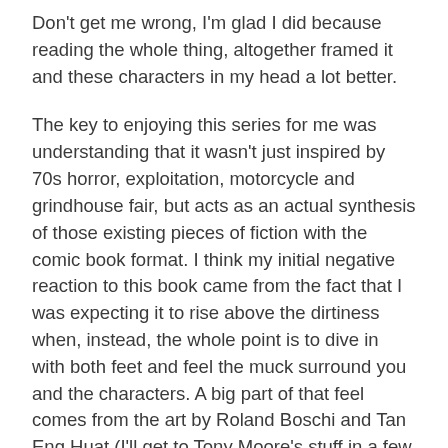Don't get me wrong, I'm glad I did because reading the whole thing, altogether framed it and these characters in my head a lot better.
The key to enjoying this series for me was understanding that it wasn't just inspired by 70s horror, exploitation, motorcycle and grindhouse fair, but acts as an actual synthesis of those existing pieces of fiction with the comic book format. I think my initial negative reaction to this book came from the fact that I was expecting it to rise above the dirtiness when, instead, the whole point is to dive in with both feet and feel the muck surround you and the characters. A big part of that feel comes from the art by Roland Boschi and Tan Eng Huat (I'll get to Tony Moore's stuff in a few graphs). These artists have a style that is exaggerated and maybe a little muddy, the comic book equivalent of screen scratches and over exposed film stock (but clearly done with more intent and skill than using the cheapest film stock you can get your hands on